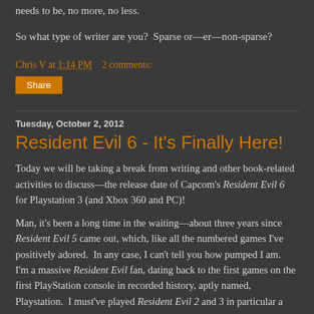needs to be, no more, no less.
So what type of writer are you?  Sparse or—er—non-sparse?
Chris V at 1:14 PM   2 comments:
Share
Tuesday, October 2, 2012
Resident Evil 6 - It's Finally Here!
Today we will be taking a break from writing and other book-related activities to discuss—the release date of Capcom's Resident Evil 6 for Playstation 3 (and Xbox 360 and PC)!
Man, it's been a long time in the waiting—about three years since Resident Evil 5 came out, which, like all the numbered games I've positively adored.  In any case, I can't tell you how pumped I am.  I'm a massive Resident Evil fan, dating back to the first games on the first PlayStation console in recorded history, aptly named, Playstation.  I must've played Resident Evil 2 and 3 in particular a